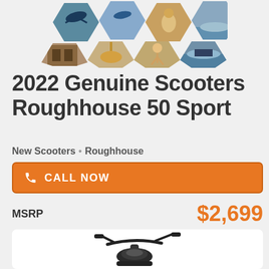[Figure (photo): Strip of hexagonal-shaped photos showing outdoor/nature scenes including a bird in flight, a wooden structure, a goat, and a person on a jet ski]
2022 Genuine Scooters Roughhouse 50 Sport
New Scooters • Roughhouse
CALL NOW
MSRP $2,699
[Figure (photo): Photo of a black 2022 Genuine Scooters Roughhouse 50 Sport scooter showing handlebars and front section]